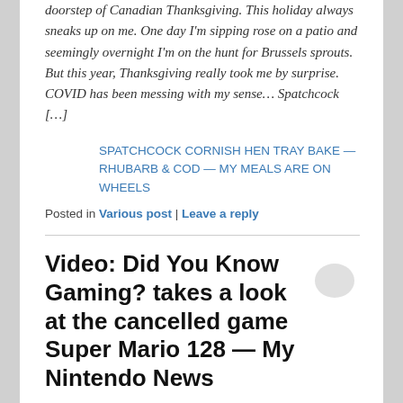doorstep of Canadian Thanksgiving. This holiday always sneaks up on me. One day I'm sipping rose on a patio and seemingly overnight I'm on the hunt for Brussels sprouts. But this year, Thanksgiving really took me by surprise. COVID has been messing with my sense… Spatchcock […]
SPATCHCOCK CORNISH HEN TRAY BAKE — RHUBARB & COD — MY MEALS ARE ON WHEELS
Posted in Various post | Leave a reply
Video: Did You Know Gaming? takes a look at the cancelled game Super Mario 128 — My Nintendo News